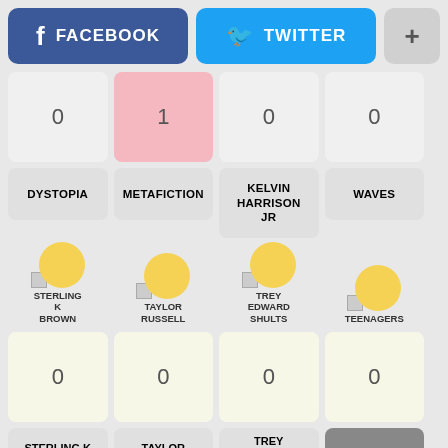[Figure (screenshot): Social share buttons: Facebook (blue), Twitter (blue), and a plus button (gray)]
| Col1 | Col2 | Col3 | Col4 |
| --- | --- | --- | --- |
| 0 | 1 | 0 | 0 |
| DYSTOPIA | METAFICTION | KELVIN HARRISON JR | WAVES |
| STERLING K BROWN (avatar) | TAYLOR RUSSELL (avatar) | TREY EDWARD SHULTS (avatar) | TEENAGERS (avatar) |
| 0 | 0 | 0 | 0 |
| STERLING K BROWN | TAYLOR RUSSELL | TREY EDWARD SHULTS | TEENAGERS |